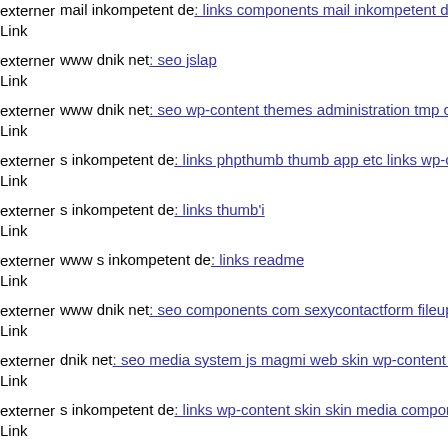externer Link mail inkompetent de: links components mail inkompetent d
externer Link www dnik net: seo jslap
externer Link www dnik net: seo wp-content themes administration tmp c
externer Link s inkompetent de: links phpthumb thumb app etc links wp-c
externer Link s inkompetent de: links thumb'i
externer Link www s inkompetent de: links readme
externer Link www dnik net: seo components com sexycontactform fileup
externer Link dnik net: seo media system js magmi web skin wp-content t
externer Link s inkompetent de: links wp-content skin skin media compon
externer Link dnik net: seo robots txt plugins editors index php
externer Link s inkompetent de: links wp-content themes magazine mail i